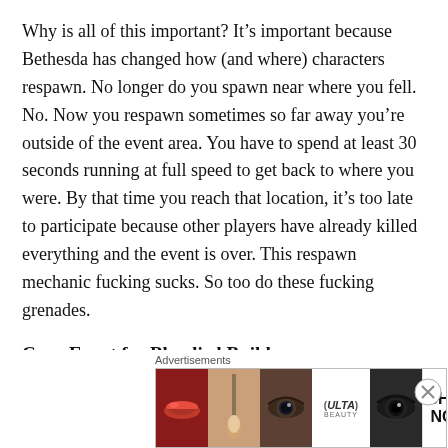Why is all of this important? It's important because Bethesda has changed how (and where) characters respawn. No longer do you spawn near where you fell. No. Now you respawn sometimes so far away you're outside of the event area. You have to spend at least 30 seconds running at full speed to get back to where you were. By that time you reach that location, it's too late to participate because other players have already killed everything and the event is over. This respawn mechanic fucking sucks. So too do these fucking grenades.
Crap Event for Bloodied Build
Here's where things get exceedingly dicey when you're
[Figure (other): Ulta Beauty advertisement banner showing close-up images of lips with red lipstick, a makeup brush, an eye with eye makeup, the Ulta Beauty logo, another eye with dramatic makeup, and a 'SHOP NOW' call to action button.]